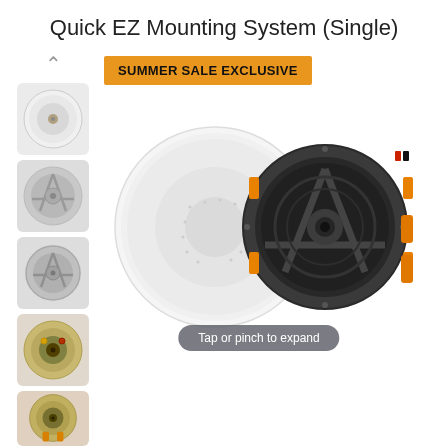Quick EZ Mounting System (Single)
[Figure (photo): Promotional product page showing a ceiling speaker (Quick EZ Mounting System Single). Left column has upward arrow and 5 thumbnail images of the speaker from different angles. Right side has an orange SUMMER SALE EXCLUSIVE badge and a large main product image showing the speaker with grille cover and without, side by side. A 'Tap or pinch to expand' pill overlay appears at the bottom of the main image.]
Tap or pinch to expand